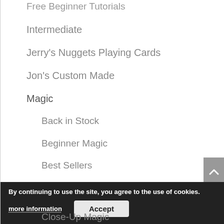Free Beginner Tutorials
Intermediate
Jerry's Nuggets Playing Cards
Jon's Custom Made
Magic
Back in Stock
Beginner Magic
Best Sellers
Card Magic
Cardshark
Childrens Magic
Close-Up Magic
By continuing to use the site, you agree to the use of cookies.
more information
Accept